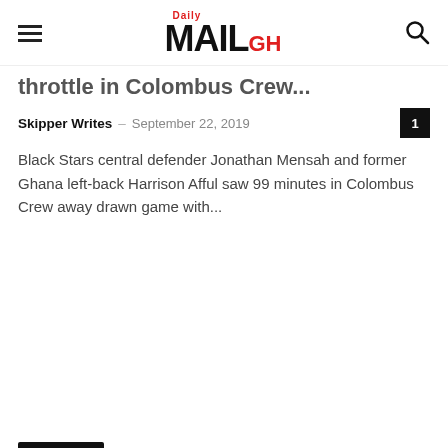Daily MAIL GH
throttle in Colombus Crew...
Skipper Writes – September 22, 2019
Black Stars central defender Jonathan Mensah and former Ghana left-back Harrison Afful saw 99 minutes in Colombus Crew away drawn game with...
Headlines
Ghanaian players abroad team of the week